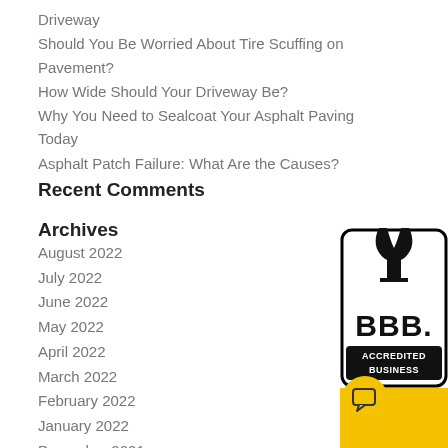Driveway
Should You Be Worried About Tire Scuffing on Pavement?
How Wide Should Your Driveway Be?
Why You Need to Sealcoat Your Asphalt Paving Today
Asphalt Patch Failure: What Are the Causes?
Recent Comments
Archives
August 2022
July 2022
June 2022
May 2022
April 2022
March 2022
February 2022
January 2022
December 2021
November 2021
October 2021
[Figure (logo): BBB Accredited Business badge with torch logo and black border on white background]
[Figure (infographic): Yellow vertical sidebar with rotated text and yellow chat bubble icon]